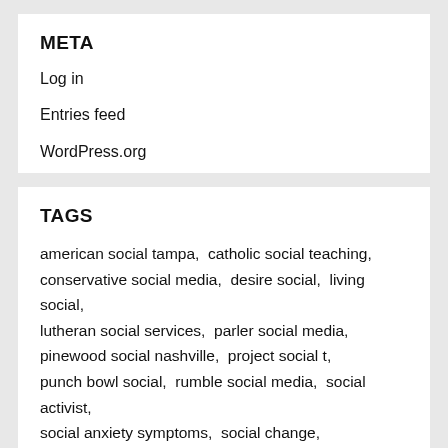META
Log in
Entries feed
WordPress.org
TAGS
american social tampa,  catholic social teaching,  conservative social media,  desire social,  living social,  lutheran social services,  parler social media,  pinewood social nashville,  project social t,  punch bowl social,  rumble social media,  social activist,  social anxiety symptoms,  social change,  social circle ga,  social class definition,  social comparison,  social darwinism definition,